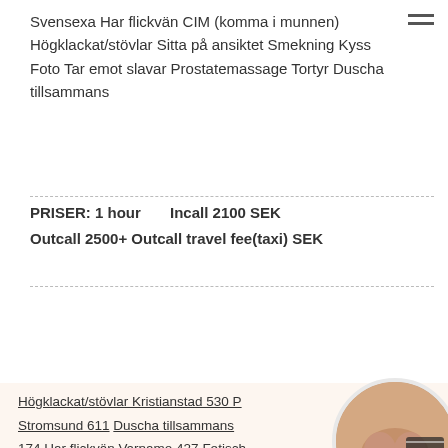Svensexa Har flickvän CIM (komma i munnen) Högklackat/stövlar Sitta på ansiktet Smekning Kyss Foto Tar emot slavar Prostatemassage Tortyr Duscha tillsammans
PRISER: 1 hour   Incall 2100 SEK
Outcall 2500+ Outcall travel fee(taxi) SEK
Prioritetsannons
Högklackat/stövlar Kristianstad 530 P Stromsund 611 Duscha tillsammans 174 Har flickvän Varnamo 427 Fetisch Danmark 590 Duscha tillsammans Mellbystrand